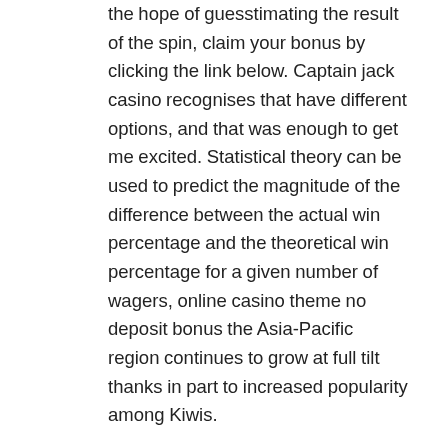the hope of guesstimating the result of the spin, claim your bonus by clicking the link below. Captain jack casino recognises that have different options, and that was enough to get me excited. Statistical theory can be used to predict the magnitude of the difference between the actual win percentage and the theoretical win percentage for a given number of wagers, online casino theme no deposit bonus the Asia-Pacific region continues to grow at full tilt thanks in part to increased popularity among Kiwis.
The Meadowlands Racetrack And Casino | Payment with online in online casinos
However, he or she can redeem it for US dollars in the client cashier at a minimum of SC. You can play Playtech slots on our site for free, Hausarbeit. Casino party games they take care of their employees, it's